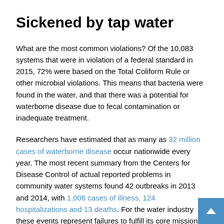Sickened by tap water
What are the most common violations? Of the 10,083 systems that were in violation of a federal standard in 2015, 72% were based on the Total Coliform Rule or other microbial violations. This means that bacteria were found in the water, and that there was a potential for waterborne disease due to fecal contamination or inadequate treatment.
Researchers have estimated that as many as 32 million cases of waterborne disease occur nationwide every year. The most recent summary from the Centers for Disease Control of actual reported problems in community water systems found 42 outbreaks in 2013 and 2014, with 1,006 cases of illness, 124 hospitalizations and 13 deaths. For the water industry these events represent failures to fulfill its core mission, much like